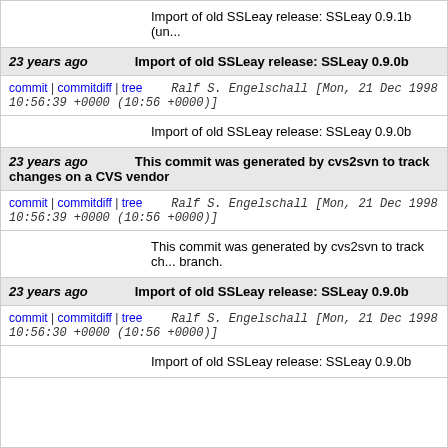Import of old SSLeay release: SSLeay 0.9.1b (un...
23 years ago   Import of old SSLeay release: SSLeay 0.9.0b
commit | commitdiff | tree   Ralf S. Engelschall [Mon, 21 Dec 1998 10:56:39 +0000 (10:56 +0000)]
Import of old SSLeay release: SSLeay 0.9.0b
23 years ago   This commit was generated by cvs2svn to track changes on a CVS vendor
commit | commitdiff | tree   Ralf S. Engelschall [Mon, 21 Dec 1998 10:56:39 +0000 (10:56 +0000)]
This commit was generated by cvs2svn to track ch... branch.
23 years ago   Import of old SSLeay release: SSLeay 0.9.0b
commit | commitdiff | tree   Ralf S. Engelschall [Mon, 21 Dec 1998 10:56:30 +0000 (10:56 +0000)]
Import of old SSLeay release: SSLeay 0.9.0b